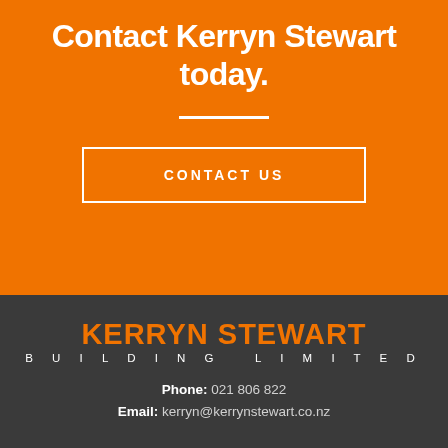Contact Kerryn Stewart today.
CONTACT US
[Figure (logo): Kerryn Stewart Building Limited logo — company name in orange bold and white spaced letters on dark grey background]
Phone: 021 806 822
Email: kerryn@kerrynstewart.co.nz